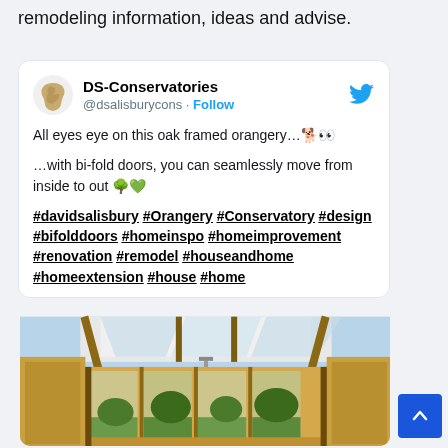remodeling information, ideas and advise.
DS-Conservatories @dsalisburycons · Follow
All eyes eye on this oak framed orangery…🐕👀

…with bi-fold doors, you can seamlessly move from inside to out 🌳💚

#davidsalisbury #Orangery #Conservatory #design #bifolddoors #homeinspo #homeimprovement #renovation #remodel #houseandhome #homeextension #house #home
[Figure (photo): Interior of an oak framed orangery with bi-fold doors, showing wooden beams, glass roof panels, and views of garden outside]